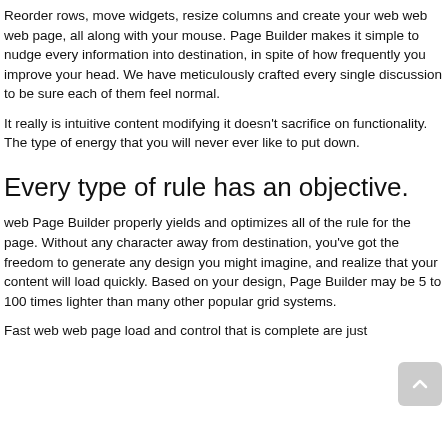Reorder rows, move widgets, resize columns and create your web web web page, all along with your mouse. Page Builder makes it simple to nudge every information into destination, in spite of how frequently you improve your head. We have meticulously crafted every single discussion to be sure each of them feel normal.
It really is intuitive content modifying it doesn't sacrifice on functionality. The type of energy that you will never ever like to put down.
Every type of rule has an objective.
web Page Builder properly yields and optimizes all of the rule for the page. Without any character away from destination, you've got the freedom to generate any design you might imagine, and realize that your content will load quickly. Based on your design, Page Builder may be 5 to 100 times lighter than many other popular grid systems.
Fast web web page load and control that is complete are just